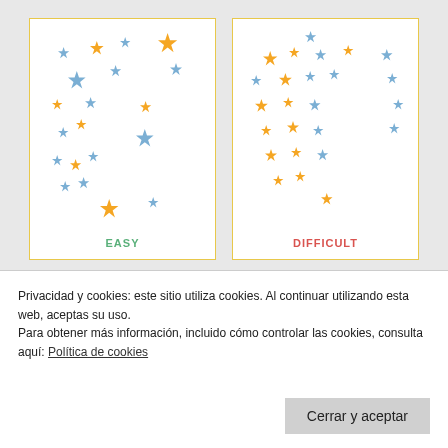[Figure (illustration): Two side-by-side cards on a grey background. Left card labeled EASY shows scattered blue and yellow six-pointed stars of varying sizes arranged loosely. Right card labeled DIFFICULT shows a denser arrangement of blue and yellow six-pointed stars. Both cards have a thin golden border.]
Privacidad y cookies: este sitio utiliza cookies. Al continuar utilizando esta web, aceptas su uso.
Para obtener más información, incluido cómo controlar las cookies, consulta aquí: Política de cookies
Cerrar y aceptar